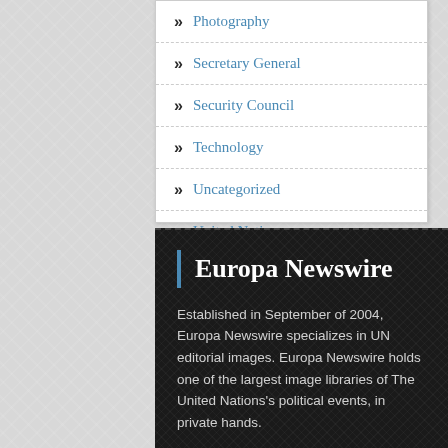Photography
Secretary General
Security Council
Technology
Uncategorized
United Nations
Europa Newswire
Established in September of 2004, Europa Newswire specializes in UN editorial images. Europa Newswire holds one of the largest image libraries of The United Nations's political events, in private hands.